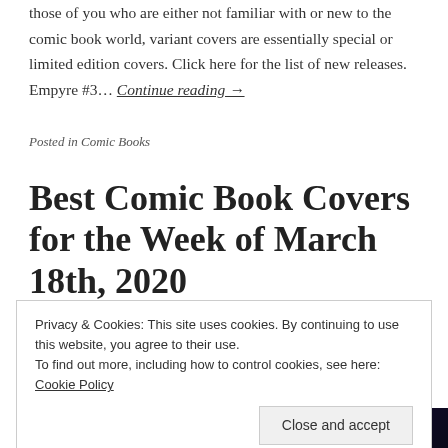those of you who are either not familiar with or new to the comic book world, variant covers are essentially special or limited edition covers. Click here for the list of new releases. Empyre #3… Continue reading →
Posted in Comic Books
Best Comic Book Covers for the Week of March 18th, 2020
Privacy & Cookies: This site uses cookies. By continuing to use this website, you agree to their use.
To find out more, including how to control cookies, see here: Cookie Policy
[Figure (photo): Partial view of a comic book cover with dark red and blue tones visible at the bottom of the page]